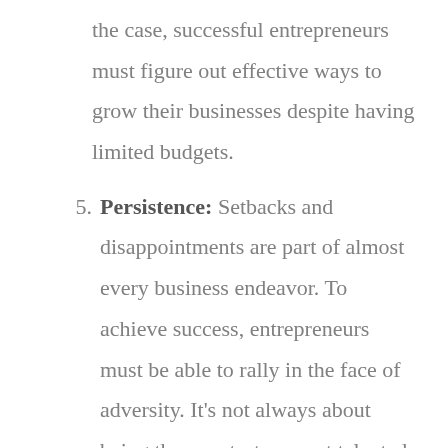the case, successful entrepreneurs must figure out effective ways to grow their businesses despite having limited budgets.
Persistence: Setbacks and disappointments are part of almost every business endeavor. To achieve success, entrepreneurs must be able to rally in the face of adversity. It's not always about being the smartest or most talented business person; sometimes, it's all about persevering longer than anyone else. If you are expecting a smooth ride to success, you're in for some sobering